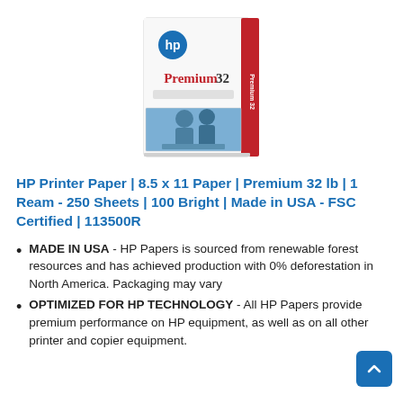[Figure (photo): HP Premium 32 printer paper ream box, white box with red accent on the spine, HP logo visible, showing 'Premium32' branding and icons on the front.]
HP Printer Paper | 8.5 x 11 Paper | Premium 32 lb | 1 Ream - 250 Sheets | 100 Bright | Made in USA - FSC Certified | 113500R
MADE IN USA - HP Papers is sourced from renewable forest resources and has achieved production with 0% deforestation in North America. Packaging may vary
OPTIMIZED FOR HP TECHNOLOGY - All HP Papers provide premium performance on HP equipment, as well as on all other printer and copier equipment.